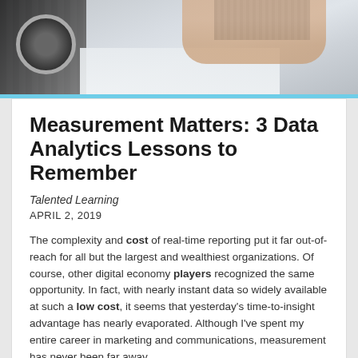[Figure (photo): Header photo showing a desk scene with a keyboard, wristwatch, and hands typing on a laptop in the background]
Measurement Matters: 3 Data Analytics Lessons to Remember
Talented Learning
APRIL 2, 2019
The complexity and cost of real-time reporting put it far out-of-reach for all but the largest and wealthiest organizations. Of course, other digital economy players recognized the same opportunity. In fact, with nearly instant data so widely available at such a low cost, it seems that yesterday’s time-to-insight advantage has nearly evaporated. Although I’ve spent my entire career in marketing and communications, measurement has never been far away.